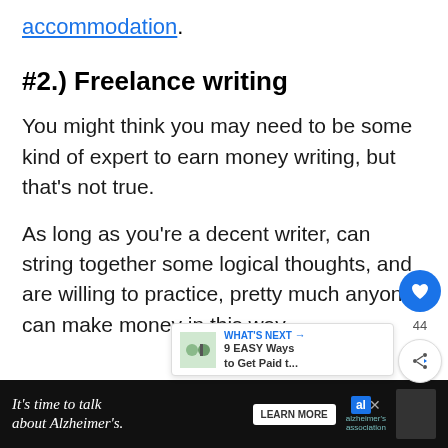accommodation.
#2.) Freelance writing
You might think you may need to be some kind of expert to earn money writing, but that's not true.
As long as you're a decent writer, can string together some logical thoughts, and are willing to practice, pretty much anyone can make money in this way.
[Figure (screenshot): UI overlay with heart/like button (blue circle, 44 count), share button, and 'What's Next' preview panel showing '9 EASY Ways to Get Paid t...']
[Figure (infographic): Advertisement banner: 'It's time to talk about Alzheimer's.' with LEARN MORE button and Alzheimer's Association logo]